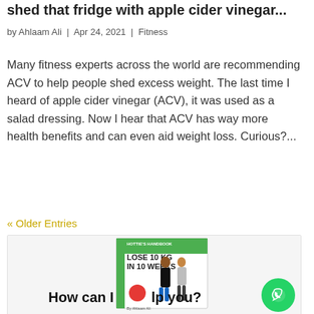shed that fridge with apple cider vinegar...
by Ahlaam Ali  |  Apr 24, 2021  |  Fitness
Many fitness experts across the world are recommending ACV to help people shed excess weight. The last time I heard of apple cider vinegar (ACV), it was used as a salad dressing. Now I hear that ACV has way more health benefits and can even aid weight loss. Curious?...
« Older Entries
[Figure (illustration): Book cover illustration for 'Hottie's Handbook: Lose 10 KG in 10 Weeks' by Ahlaam Ali, with cartoon couple figures. Overlaid text reads 'How can I help you?'. A green WhatsApp button appears bottom right.]